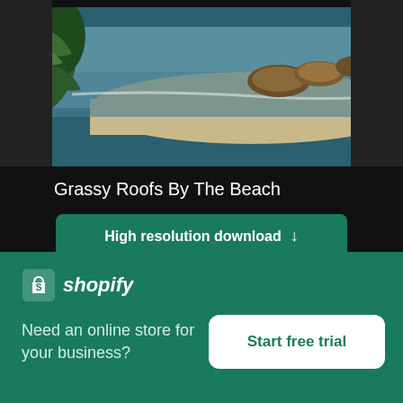[Figure (photo): Aerial photo of grassy thatched-roof huts near a beach with tropical vegetation and ocean in background]
Grassy Roofs By The Beach
High resolution download ↓
[Figure (photo): Aerial/landscape photo of a misty valley with mountains and clouds]
[Figure (logo): Shopify logo with bag icon and italic text 'shopify']
Need an online store for your business?
Start free trial